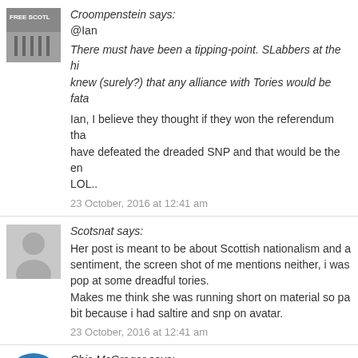[Figure (photo): Small avatar image showing a stone with 'FREE SCOTLAND' text]
Croompenstein says:
@Ian
There must have been a tipping-point. SLabbers at the hi... knew (surely?) that any alliance with Tories would be fata...
Ian, I believe they thought if they won the referendum tha... have defeated the dreaded SNP and that would be the en... LOL..
23 October, 2016 at 12:41 am
[Figure (photo): Generic gray avatar silhouette]
Scotsnat says:
Her post is meant to be about Scottish nationalism and an... sentiment, the screen shot of me mentions neither, i was... pop at some dreadful tories. Makes me think she was running short on material so pa... bit because i had saltire and snp on avatar.
23 October, 2016 at 12:41 am
[Figure (logo): Blue circle with 'Yet' text logo]
Chic McGregor says:
Shex
"Yoontermensch" made me seriously chuckle."